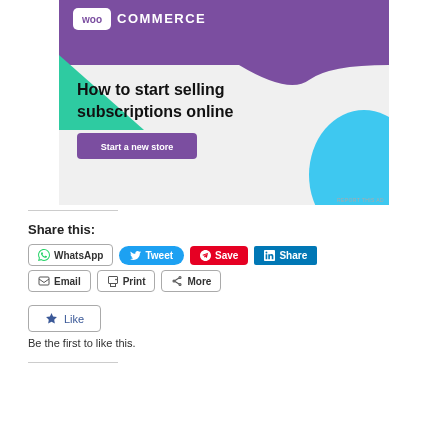[Figure (illustration): WooCommerce advertisement banner with purple header containing WooCommerce logo, green triangle shape on left, blue circle on bottom right, headline text 'How to start selling subscriptions online', and purple 'Start a new store' button]
Share this:
WhatsApp
Tweet
Save
Share
Email
Print
More
Like
Be the first to like this.